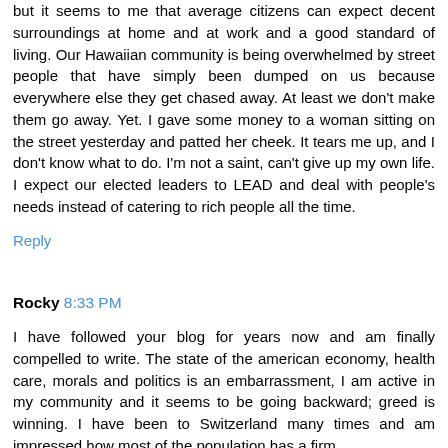but it seems to me that average citizens can expect decent surroundings at home and at work and a good standard of living. Our Hawaiian community is being overwhelmed by street people that have simply been dumped on us because everywhere else they get chased away. At least we don't make them go away. Yet. I gave some money to a woman sitting on the street yesterday and patted her cheek. It tears me up, and I don't know what to do. I'm not a saint, can't give up my own life. I expect our elected leaders to LEAD and deal with people's needs instead of catering to rich people all the time.
Reply
Rocky 8:33 PM
I have followed your blog for years now and am finally compelled to write. The state of the american economy, health care, morals and politics is an embarrassment, I am active in my community and it seems to be going backward; greed is winning. I have been to Switzerland many times and am impressed how most of the population has a firm